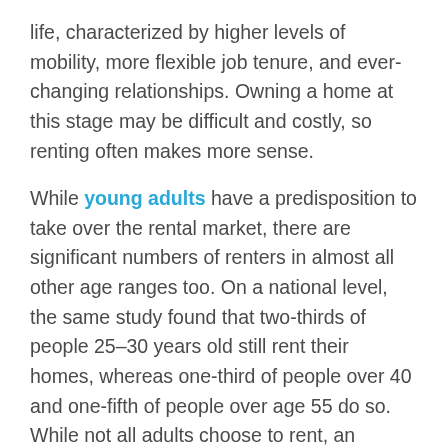life, characterized by higher levels of mobility, more flexible job tenure, and ever-changing relationships. Owning a home at this stage may be difficult and costly, so renting often makes more sense.
While young adults have a predisposition to take over the rental market, there are significant numbers of renters in almost all other age ranges too. On a national level, the same study found that two-thirds of people 25–30 years old still rent their homes, whereas one-third of people over 40 and one-fifth of people over age 55 do so. While not all adults choose to rent, an increasing number are doing so in recent years. Older adults who prefer to rent often do so because they don't want the trouble of home maintenance or the financial risks associated with a